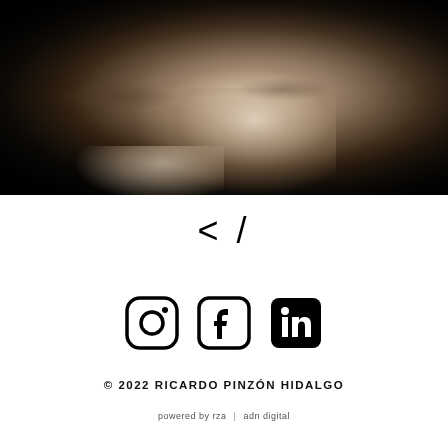[Figure (photo): Black and white portrait photograph of a man covering part of his face with his hand, dramatic lighting against dark background]
[Figure (logo): Logo symbol showing angle bracket and forward slash: < /]
[Figure (infographic): Three social media icons in a row: Instagram, Facebook, LinkedIn]
© 2022 RICARDO PINZÓN HIDALGO
powered by rza | adn digital